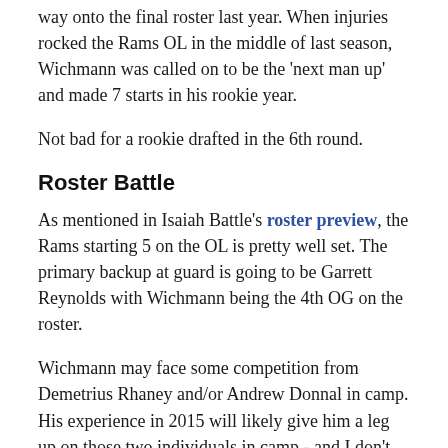way onto the final roster last year. When injuries rocked the Rams OL in the middle of last season, Wichmann was called on to be the 'next man up' and made 7 starts in his rookie year.
Not bad for a rookie drafted in the 6th round.
Roster Battle
As mentioned in Isaiah Battle's roster preview, the Rams starting 5 on the OL is pretty well set. The primary backup at guard is going to be Garrett Reynolds with Wichmann being the 4th OG on the roster.
Wichmann may face some competition from Demetrius Rhaney and/or Andrew Donnal in camp. His experience in 2015 will likely give him a leg up on those two individuals in camp - and I don't expect him